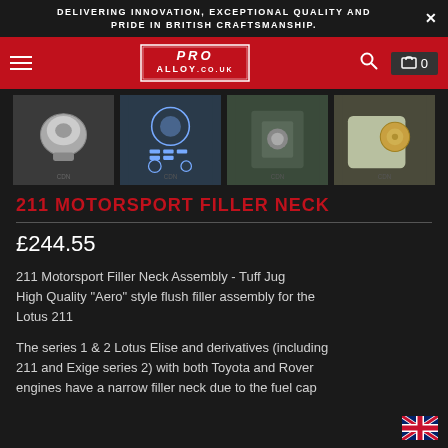DELIVERING INNOVATION, EXCEPTIONAL QUALITY AND PRIDE IN BRITISH CRAFTSMANSHIP.
[Figure (logo): Pro Alloy logo on red navigation bar with hamburger menu, search icon, and cart showing 0]
[Figure (photo): Four product thumbnail images of 211 Motorsport Filler Neck assembly components]
211 MOTORSPORT FILLER NECK
£244.55
211 Motorsport Filler Neck Assembly - Tuff Jug High Quality "Aero" style flush filler assembly for the Lotus 211
The series 1 & 2 Lotus Elise and derivatives (including 211 and Exige series 2) with both Toyota and Rover engines have a narrow filler neck due to the fuel cap